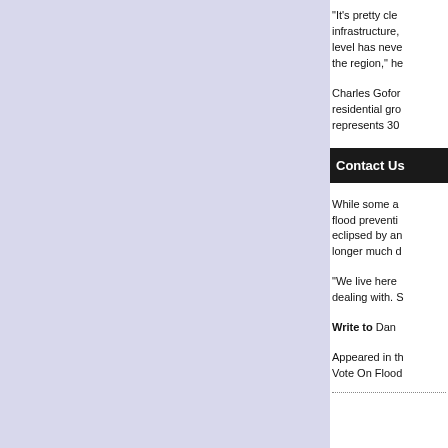“It’s pretty clear... infrastructure,... level has never... the region,” he
Charles Gofor... residential gro... represents 30
Contact Us
While some a... flood preventi... eclipsed by an... longer much d
“We live here ... dealing with. S
Write to Dan
Appeared in t... Vote On Flood